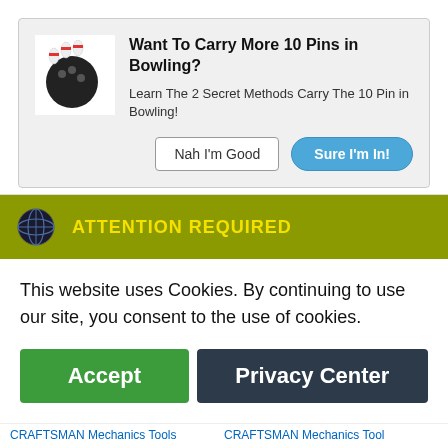[Figure (screenshot): Product listing showing two Craftsman tool sets side by side with images, titles, and prices]
Craftsman 500-Piece Mechanics Tool Set by Craftsman
$1599.00
CRAFTSMAN Home Tool Kit / Mechanics Tools Kit, 57-Pi...
$54.98 ✓prime
[Figure (screenshot): Bowling popup modal: 'Want To Carry More 10 Pins in Bowling?' with two buttons: 'Nah I'm Good' and 'Sure I'm In!']
Want To Carry More 10 Pins in Bowling?
Learn The 2 Secret Methods Carry The 10 Pin in Bowling!
Nah I'm Good
Sure I'm In!
[Figure (screenshot): Cookie consent banner with ATTENTION REQUIRED header, globe icon, and two buttons: Accept and Privacy Center]
ATTENTION REQUIRED
This website uses Cookies. By continuing to use our site, you consent to the use of cookies.
Accept
Privacy Center
CRAFTSMAN Mechanics Tools
CRAFTSMAN Mechanics Tool